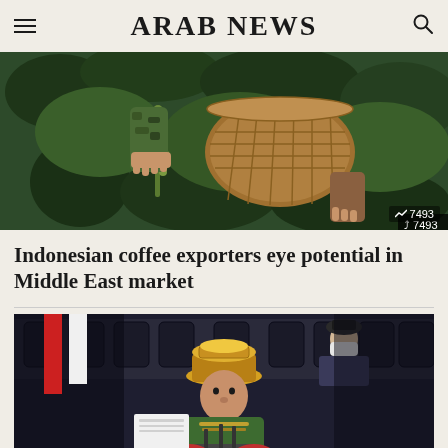ARAB NEWS
[Figure (photo): Person harvesting green coffee berries from a plant, holding them over a woven basket, surrounded by lush green foliage. A badge showing a chart icon and '7493' appears in the lower right corner.]
Indonesian coffee exporters eye potential in Middle East market
[Figure (photo): A man wearing a traditional Indonesian hat and ornate green ceremonial attire stands at a podium, hands clasped in a greeting gesture. Behind him, officials in suits and masks are seated.]